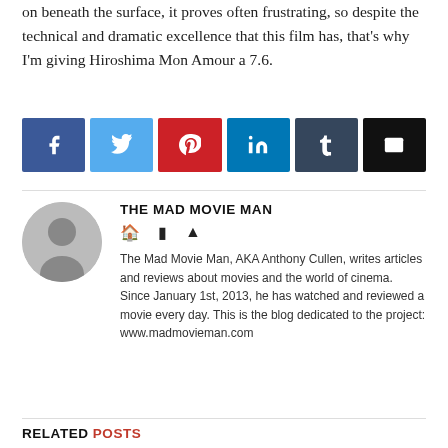on beneath the surface, it proves often frustrating, so despite the technical and dramatic excellence that this film has, that's why I'm giving Hiroshima Mon Amour a 7.6.
[Figure (infographic): Row of social sharing buttons: Facebook (blue), Twitter (light blue), Pinterest (red), LinkedIn (teal), Tumblr (dark blue-grey), Email (black)]
THE MAD MOVIE MAN
[Figure (illustration): Circular grey avatar/profile placeholder icon]
The Mad Movie Man, AKA Anthony Cullen, writes articles and reviews about movies and the world of cinema. Since January 1st, 2013, he has watched and reviewed a movie every day. This is the blog dedicated to the project: www.madmovieman.com
RELATED POSTS